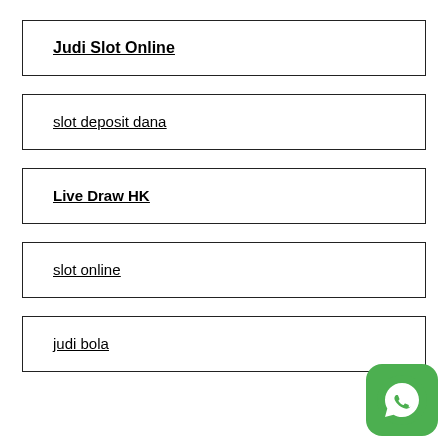Judi Slot Online
slot deposit dana
Live Draw HK
slot online
judi bola